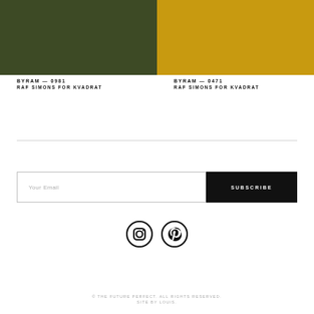[Figure (photo): Dark olive green fabric swatch texture]
[Figure (photo): Mustard yellow fabric swatch texture]
BYRAM — 0981
RAF SIMONS FOR KVADRAT
BYRAM — 0471
RAF SIMONS FOR KVADRAT
Your Email
SUBSCRIBE
[Figure (logo): Instagram icon circle]
[Figure (logo): Pinterest icon circle]
© THE FUTURE PERFECT. ALL RIGHTS RESERVED.
SITE BY LOUIS.